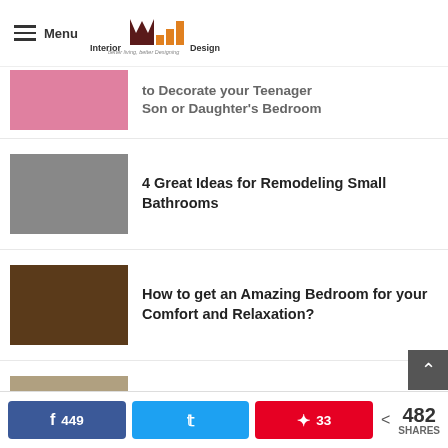Interior Design 4 — better living, better Designing
to Decorate your Teenager Son or Daughter's Bedroom
4 Great Ideas for Remodeling Small Bathrooms
How to get an Amazing Bedroom for your Comfort and Relaxation?
Euro Metal Bed frame is your Answer for a Unique, Beautiful, and Stylish Bedroom
449 shares on Facebook · Twitter · 33 Pinterest · 482 SHARES